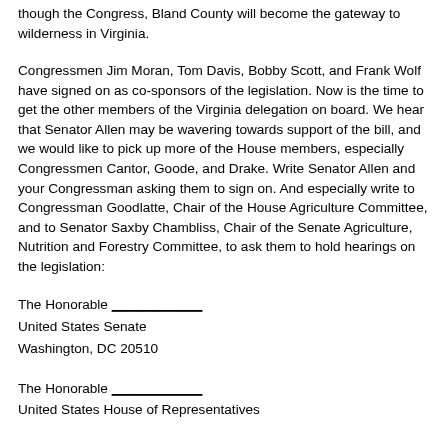though the Congress, Bland County will become the gateway to wilderness in Virginia.
Congressmen Jim Moran, Tom Davis, Bobby Scott, and Frank Wolf have signed on as co-sponsors of the legislation. Now is the time to get the other members of the Virginia delegation on board. We hear that Senator Allen may be wavering towards support of the bill, and we would like to pick up more of the House members, especially Congressmen Cantor, Goode, and Drake. Write Senator Allen and your Congressman asking them to sign on. And especially write to Congressman Goodlatte, Chair of the House Agriculture Committee, and to Senator Saxby Chambliss, Chair of the Senate Agriculture, Nutrition and Forestry Committee, to ask them to hold hearings on the legislation:
The Honorable ____________
United States Senate
Washington, DC 20510
The Honorable ____________
United States House of Representatives